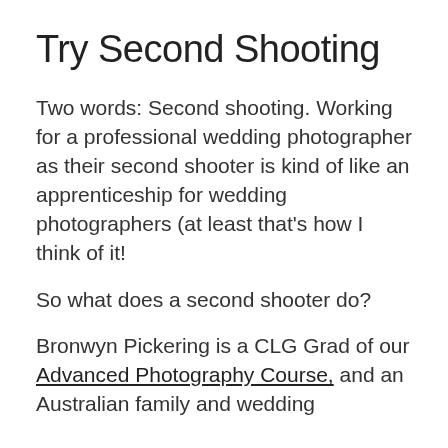Try Second Shooting
Two words: Second shooting. Working for a professional wedding photographer as their second shooter is kind of like an apprenticeship for wedding photographers (at least that's how I think of it!
So what does a second shooter do?
Bronwyn Pickering is a CLG Grad of our Advanced Photography Course, and an Australian family and wedding photographer (full disclosure, she's a